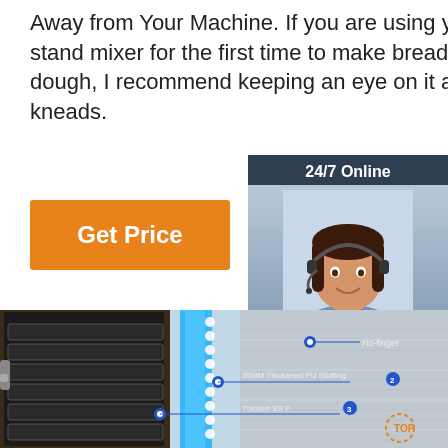Away from Your Machine. If you are using your stand mixer for the first time to make bread dough, I recommend keeping an eye on it as it kneads.
[Figure (other): Orange 'Get Price' button]
[Figure (other): 24/7 Online chat widget with female agent wearing headset, 'Click here for free chat!' text and orange QUOTATION button]
[Figure (other): Product engineering diagram showing cross-section of machine with annotations: 'No-finger', '35MM Thickened PU Stuffing (2)', 'Thicken SS P... (3)', plus 'TOP' circular logo overlay]